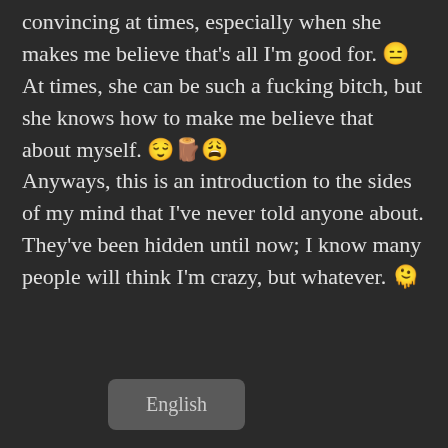...that guy's just like that's will handle this convincing at times, especially when she makes me believe that's all I'm good for. 😑 At times, she can be such a fucking bitch, but she knows how to make me believe that about myself. 😌🫥😩 Anyways, this is an introduction to the sides of my mind that I've never told anyone about. They've been hidden until now; I know many people will think I'm crazy, but whatever. 🫠
English